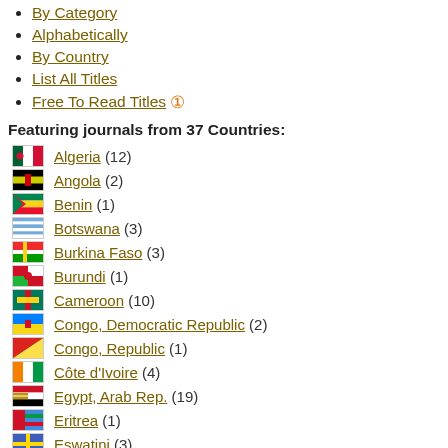By Category
Alphabetically
By Country
List All Titles
Free To Read Titles
Featuring journals from 37 Countries:
Algeria (12)
Angola (2)
Benin (1)
Botswana (3)
Burkina Faso (3)
Burundi (1)
Cameroon (10)
Congo, Democratic Republic (2)
Congo, Republic (1)
Côte d'Ivoire (4)
Egypt, Arab Rep. (19)
Eritrea (1)
Eswatini (3)
Ethiopia (39)
Gambia, The (1)
Ghana (34)